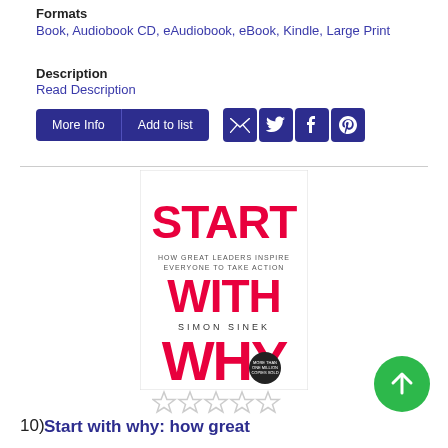Formats
Book, Audiobook CD, eAudiobook, eBook, Kindle, Large Print
Description
Read Description
[Figure (screenshot): Buttons: More Info, Add to list, and social sharing icons for email, Twitter, Facebook, Pinterest]
[Figure (photo): Book cover of 'Start With Why: How Great Leaders Inspire Everyone to Take Action' by Simon Sinek]
[Figure (other): Five empty star rating icons]
10) Start with why: how great
[Figure (other): Green circular scroll-to-top button with upward arrow]